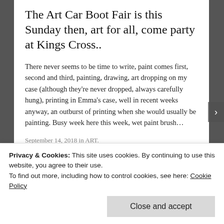The Art Car Boot Fair is this Sunday then, art for all, come party at Kings Cross..
There never seems to be time to write, paint comes first, second and third, painting, drawing, art dropping on my case (although they’re never dropped, always carefully hung), printing in Emma's case, well in recent weeks anyway, an outburst of printing when she would usually be painting. Busy week here this week, wet paint brush…
September 14, 2018 in ART.
Privacy & Cookies: This site uses cookies. By continuing to use this website, you agree to their use.
To find out more, including how to control cookies, see here: Cookie Policy
Close and accept